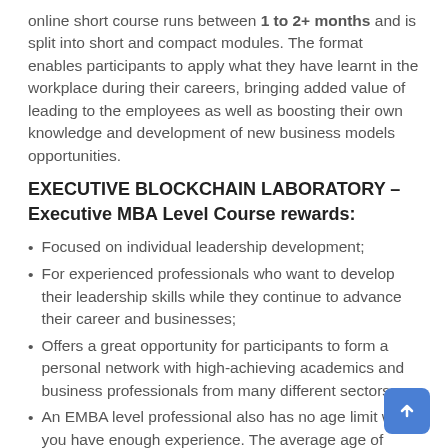online short course runs between 1 to 2+ months and is split into short and compact modules. The format enables participants to apply what they have learnt in the workplace during their careers, bringing added value of leading to the employees as well as boosting their own knowledge and development of new business models opportunities.
EXECUTIVE BLOCKCHAIN LABORATORY – Executive MBA Level Course rewards:
Focused on individual leadership development;
For experienced professionals who want to develop their leadership skills while they continue to advance their career and businesses;
Offers a great opportunity for participants to form a personal network with high-achieving academics and business professionals from many different sectors;
An EMBA level professional also has no age limit when you have enough experience. The average age of